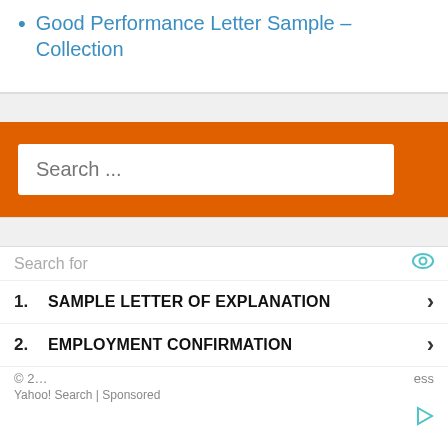Good Performance Letter Sample – Collection
[Figure (screenshot): Orange search widget with white search input box containing placeholder text 'Search ...']
[Figure (screenshot): Advertisement panel with 'Search for' header and two sponsored search results: 1. SAMPLE LETTER OF EXPLANATION, 2. EMPLOYMENT CONFIRMATION. Yahoo! Search | Sponsored label at bottom. Copyright notice partially visible.]